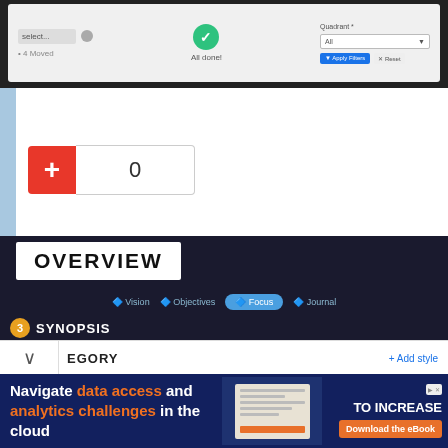[Figure (screenshot): Top portion of a web application interface showing a task management tool with a green checkmark 'All done!' status in the center, and a Quadrant filter dropdown on the right with Apply Filters and Reset buttons.]
[Figure (screenshot): A vote/upvote widget showing a red plus button and a count of 0.]
[Figure (screenshot): Overview section of Week Plan task management software showing SYNOPSIS header with text: 'Week Plan is a Task Management Software that makes teams more productive and effective. Inspired by 7 habits of highly effective people and OKR (Objective Key Results) framework, Week Plan is designed to make your team more effective.' Navigation tabs for Vision, Objectives, Focus, Journal visible. Bottom shows CATEGORY section partially visible.]
[Figure (screenshot): Advertisement banner: 'Navigate data access and analytics challenges in the cloud' with a document image and 'TO INCREASE' text and 'Download the eBook' orange button.]